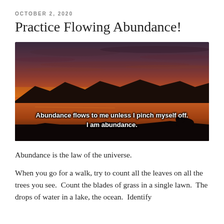OCTOBER 2, 2020
Practice Flowing Abundance!
[Figure (photo): A dramatic sunset over a lake with mountains silhouetted in the background. Warm orange and red hues fill the sky. Overlaid white bold text reads: Abundance flows to me unless I pinch myself off. I am abundance.]
Abundance is the law of the universe.
When you go for a walk, try to count all the leaves on all the trees you see.  Count the blades of grass in a single lawn.  The drops of water in a lake, the ocean.  Identify